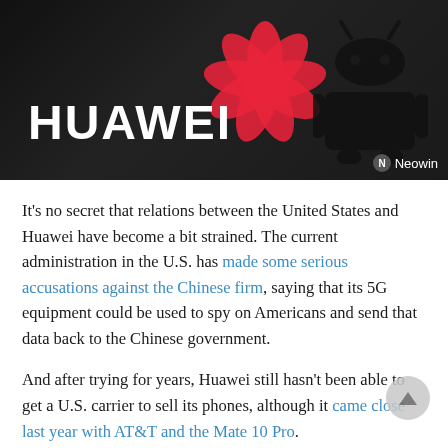[Figure (photo): Huawei logo with red flower emblem and white HUAWEI text on dark background, with Android robot silhouette on the right. Neowin watermark in bottom right corner.]
It's no secret that relations between the United States and Huawei have become a bit strained. The current administration in the U.S. has made some serious accusations against the Chinese firm, saying that its 5G equipment could be used to spy on Americans and send that data back to the Chinese government.
And after trying for years, Huawei still hasn't been able to get a U.S. carrier to sell its phones, although it came close last year with AT&T and the Mate 10 Pro.